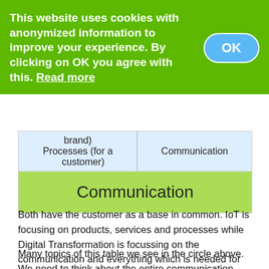This website uses cookies with anonymized information to improve your experience. By clicking on OK you agree with this. Read more
| brand)
Processes (for a customer) | Communication |
| --- | --- |
|  | Communication |
Both have the customer as a base in common. IoT is focusing on products, services and processes while Digital Transformation is focussing on the communication and everything which is needed for this (Vision, change management, IT)
Many topics of this table we see in the circle above.  We need to think about the entire communication with the customer. How do we interact with him in a dialog instead of a monologue? We have